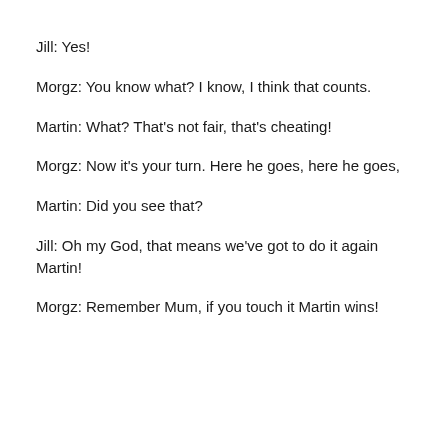Jill: Yes!
Morgz: You know what? I know, I think that counts.
Martin: What? That's not fair, that's cheating!
Morgz: Now it's your turn. Here he goes, here he goes,
Martin: Did you see that?
Jill: Oh my God, that means we've got to do it again Martin!
Morgz: Remember Mum, if you touch it Martin wins!